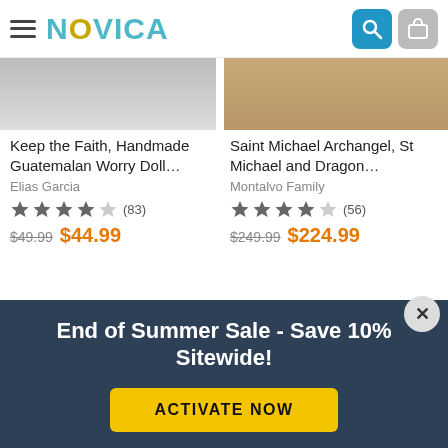NOVICA
[Figure (screenshot): Partially visible product image for Guatemalan Worry Doll (left) and Saint Michael Archangel (right) at top of page]
Keep the Faith, Handmade Guatemalan Worry Doll…
Elias Garcia
★★★★☆ (83)
$49.99  $44.99
Saint Michael Archangel, St Michael and Dragon…
Montalvo Family
★★★★☆ (56)
$249.99  $224.99
[Figure (photo): Bottom left: ceramic plate with Frida Kahlo face motif on peach background. Bottom right: beaded horseshoe/arc artifact on white background.]
End of Summer Sale - Save 10% Sitewide!
ACTIVATE NOW